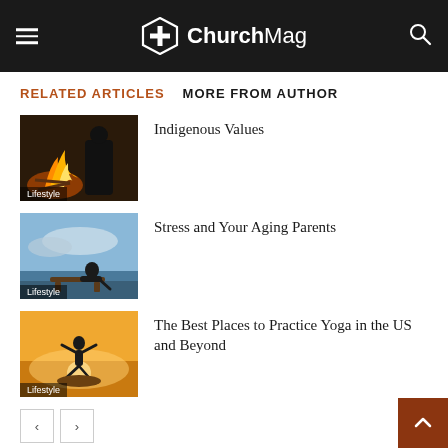ChurchMag
RELATED ARTICLES  MORE FROM AUTHOR
Indigenous Values
Lifestyle
Stress and Your Aging Parents
Lifestyle
The Best Places to Practice Yoga in the US and Beyond
Lifestyle